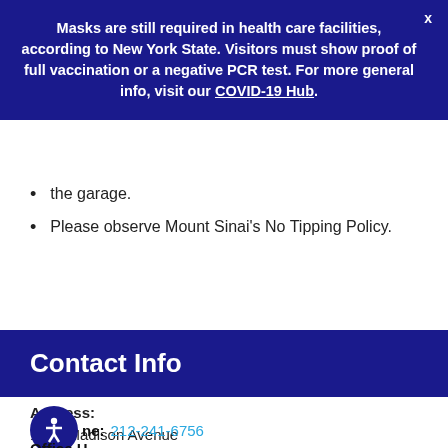Masks are still required in health care facilities, according to New York State. Visitors must show proof of full vaccination or a negative PCR test. For more general info, visit our COVID-19 Hub.
the garage.
Please observe Mount Sinai's No Tipping Policy.
Contact Info
Address:
1470 Madison Avenue
4th Floor
New York, NY 10029
Phone: 212-241-6756
Office H...